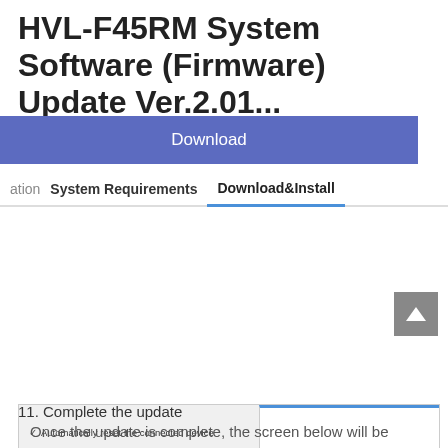HVL-F45RM System Software (Firmware) Update Ver.2.01...
Download
ation   System Requirements   Download&Install
[Figure (screenshot): Software updater dialog showing options: checkmark 'Automatically reset the connected device', radio button 'Run the update', grayed 'Finish the update'. Update information section shows progress bar, Current version: 2.00, Version after the update: 2.01. Right panel with blue top border visible. Back to top arrow button.]
11. Complete the update
Once the update is complete, the screen below will be